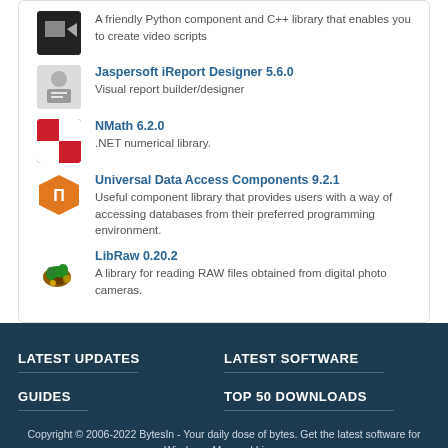A friendly Python component and C++ library that enables you to create video scripts
Jaspersoft iReport Designer 5.6.0
Visual report builder/designer
NMath 6.2.0
.NET numerical library.
Universal Data Access Components 9.2.1
Useful component library that provides users with a way of accessing databases from their preferred programming environment.
LibRaw 0.20.2
A library for reading RAW files obtained from digital photo cameras.
LATEST UPDATES
LATEST SOFTWARE
GUIDES
TOP 50 DOWNLOADS
Copyright © 2006-2022 BytesIn - Your daily dose of bytes. Get the latest software for Windows, Mac and Linux.